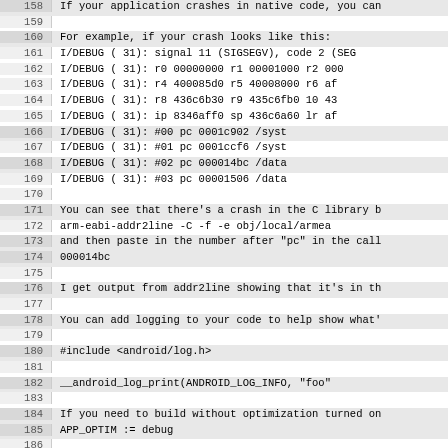158: If your application crashes in native code, you can
159: (blank)
160: For example, if your crash looks like this:
161: I/DEBUG (  31): signal 11 (SIGSEGV), code 2 (SEG
162: I/DEBUG (  31): r0 00000000  r1 00001000  r2 000
163: I/DEBUG (  31): r4 400085d0  r5 40008000  r6 af
164: I/DEBUG (  31): r8 436c6b30  r9 435c6fb0  10 43
165: I/DEBUG (  31): ip 8346aff0  sp 436c6a60  lr af
166: I/DEBUG (  31):           #00  pc 0001c902  /syst
167: I/DEBUG (  31):           #01  pc 0001ccf6  /syst
168: I/DEBUG (  31):           #02  pc 000014bc  /data
169: I/DEBUG (  31):           #03  pc 00001506  /data
170: (blank)
171: You can see that there's a crash in the C library b
172:         arm-eabi-addr2line -C -f -e obj/local/armea
173: and then paste in the number after "pc" in the call
174: 000014bc
175: (blank)
176: I get output from addr2line showing that it's in th
177: (blank)
178: You can add logging to your code to help show what's
179: (blank)
180: #include <android/log.h>
181: (blank)
182:         __android_log_print(ANDROID_LOG_INFO, "foo"
183: (blank)
184: If you need to build without optimization turned on
185: APP_OPTIM := debug
186: (blank)
187: (blank)
188: ==========================================
189: Known issues